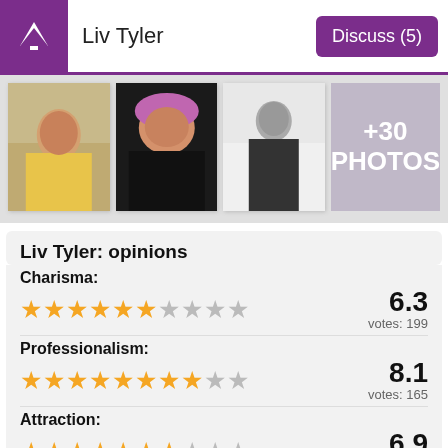Liv Tyler
[Figure (photo): Photo of Liv Tyler sitting on beach in yellow dress]
[Figure (photo): Photo of Liv Tyler wearing pink beret]
[Figure (photo): Black and white photo of Liv Tyler standing]
+30 PHOTOS
Liv Tyler: opinions
Charisma:
6.3 votes: 199
Professionalism:
8.1 votes: 165
Attraction:
6.9 votes: 206